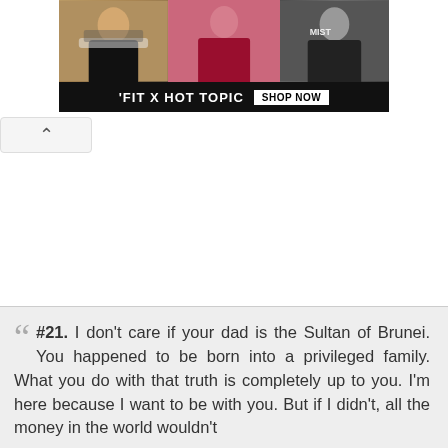[Figure (photo): Advertisement banner for 'FIT X HOT TOPIC' showing three young people in alternative/edgy fashion. A SHOP NOW button is visible on the right side of the bottom bar. An ad indicator triangle and X are in the top right corner.]
^ (collapse/toggle button with upward arrow)
#21. I don't care if your dad is the Sultan of Brunei. You happened to be born into a privileged family. What you do with that truth is completely up to you. I'm here because I want to be with you. But if I didn't, all the money in the world wouldn't